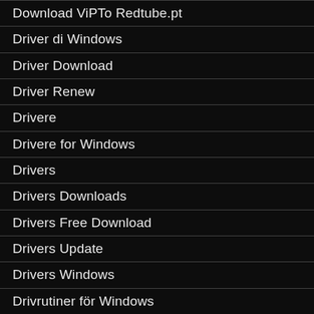Download ViPTo Redtube.pt
Driver di Windows
Driver Download
Driver Renew
Drivere
Drivere for Windows
Drivers
Drivers Downloads
Drivers Free Download
Drivers Update
Drivers Windows
Drivrutiner för Windows